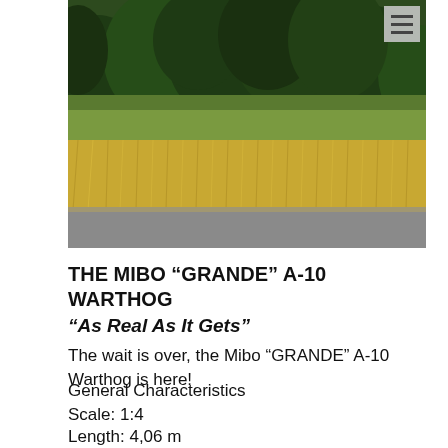[Figure (photo): Outdoor photo showing a roadside scene with golden/yellow grasses in the foreground and dense green forest trees in the background, with an asphalt road visible at the bottom.]
THE MIBO “GRANDE” A-10 WARTHOG “As Real As It Gets”
The wait is over, the Mibo “GRANDE” A-10 Warthog is here!
General Characteristics
Scale: 1:4
Length: 4,06 m